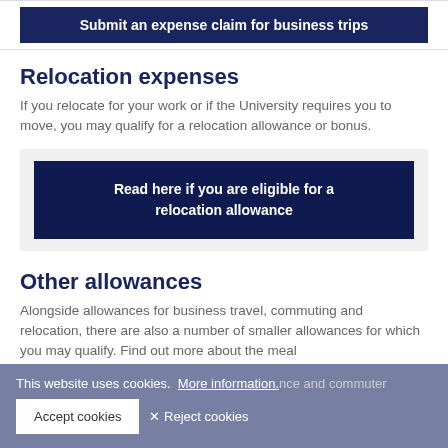Submit an expense claim for business trips
Relocation expenses
If you relocate for your work or if the University requires you to move, you may qualify for a relocation allowance or bonus.
Read here if you are eligible for a relocation allowance
Other allowances
Alongside allowances for business travel, commuting and relocation, there are also a number of smaller allowances for which you may qualify. Find out more about the meal allowance and commuter
This website uses cookies. More information.
Accept cookies
✕ Reject cookies